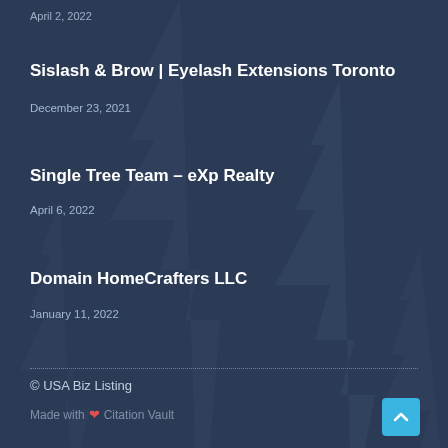April 2, 2022
Sislash & Brow | Eyelash Extensions Toronto
December 23, 2021
Single Tree Team – eXp Realty
April 6, 2022
Domain HomeCrafters LLC
January 11, 2022
© USA Biz Listing
Made with ❤ Citation Vault